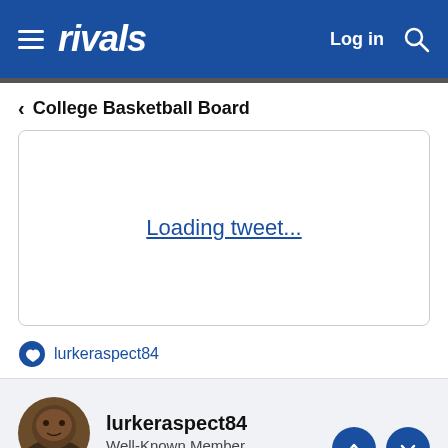rivals | Log in
College Basketball Board
Loading tweet...
lurkeraspect84
lurkeraspect84
Well-Known Member